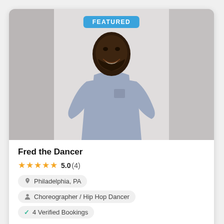[Figure (photo): A smiling man wearing a light blue/lavender t-shirt with a small chest pocket, standing against a light grey background. A 'FEATURED' badge in blue is overlaid at the top center of the photo.]
Fred the Dancer
★★★★★ 5.0 (4)
📍 Philadelphia, PA
👤 Choreographer / Hip Hop Dancer
✓ 4 Verified Bookings